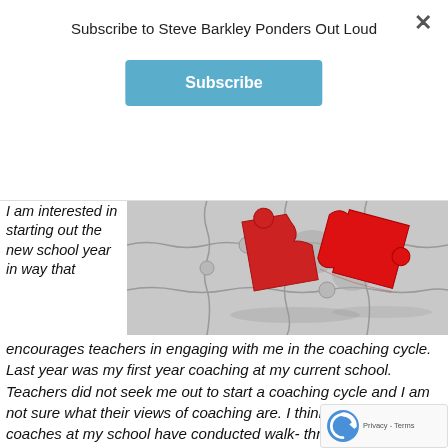Subscribe to Steve Barkley Ponders Out Loud
[Figure (other): Red puzzle pieces lifting off a grey puzzle board, illustrating coaching engagement concept]
I am interested in starting out the new school year in way that encourages teachers in engaging with me in the coaching cycle. Last year was my first year coaching at my current school. Teachers did not seek me out to start a coaching cycle and I am not sure what their views of coaching are. I think in the past most coaches at my school have conducted walk- throughs and given written emailed feedback. I want to engage in a cycle where teachers